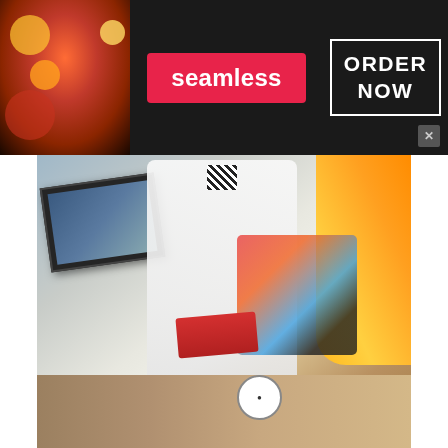[Figure (screenshot): Seamless food delivery banner ad with pizza image on left, red Seamless logo in center, ORDER NOW button in white border box on right, dark background, close button top right]
[Figure (photo): Overhead/angled photo of what appears to be a retail or food service counter scene with a person in white clothing, a TV/monitor on the left, orange garment on the right, and a wooden counter surface]
Pentagon Hui, former (G)I-dle Seo Soojin
[Figure (screenshot): Dark background social media post with Korean text: 오빠 오래오래 예쁜사랑하세요 with emoji faces, partial avatar visible top left, partially cut off]
[Figure (screenshot): Dickies advertisement: Dickies® | Official Site | Workwear & Apparel - for work pants, work shirts, overalls, and coveralls. www.dickies.com - with product image on left and blue arrow circle button on right]